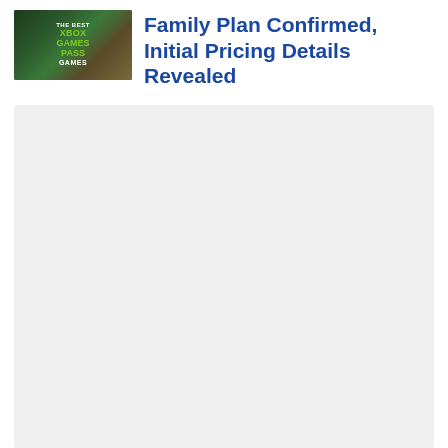[Figure (illustration): Thumbnail image with dark gaming background and text overlay reading 'THE BEST XBOX GAMES PASS GAMES' in white and green.]
Family Plan Confirmed, Initial Pricing Details Revealed
[Figure (other): Large light gray advertisement or placeholder block filling the lower portion of the page.]